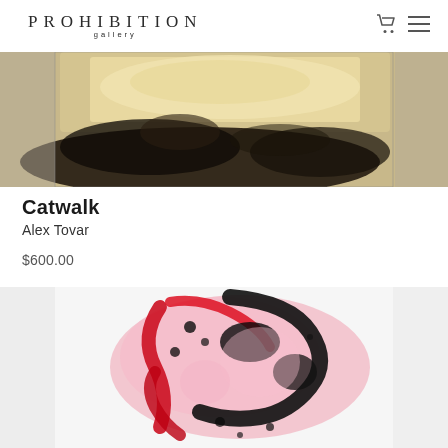PROHIBITION gallery
[Figure (photo): Top portion of abstract artwork 'Catwalk' by Alex Tovar, showing dark ink/paint on golden-beige toned background, cropped view]
Catwalk
Alex Tovar
$600.00
[Figure (photo): Abstract artwork showing a figure-like form made of pink, red, and black paint or ink on white background, with drips and splashes]